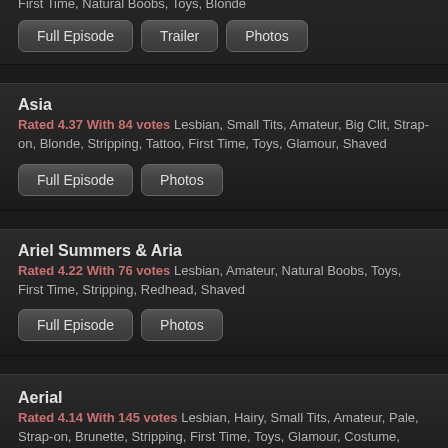First Time, Natural Boobs, Toys, Blonde
Full Episode | Trailer | Photos (buttons)
Asia
Rated 4.37 With 84 votes Lesbian, Small Tits, Amateur, Big Clit, Strap-on, Blonde, Stripping, Tattoo, First Time, Toys, Glamour, Shaved
Full Episode | Photos (buttons)
Ariel Summers & Aria
Rated 4.22 With 76 votes Lesbian, Amateur, Natural Boobs, Toys, First Time, Stripping, Redhead, Shaved
Full Episode | Photos (buttons)
Aerial
Rated 4.14 With 145 votes Lesbian, Hairy, Small Tits, Amateur, Pale, Strap-on, Brunette, Stripping, First Time, Toys, Glamour, Costume, Shaved